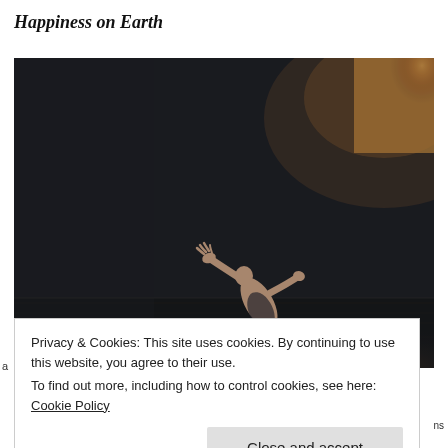Happiness on Earth
[Figure (photo): A ballet dancer mid-leap in a dark studio room with dramatic lighting from a window in the upper right corner. The dancer is arched backwards with arms and legs extended, wearing a leotard and ballet shoes.]
Privacy & Cookies: This site uses cookies. By continuing to use this website, you agree to their use.
To find out more, including how to control cookies, see here: Cookie Policy
Close and accept